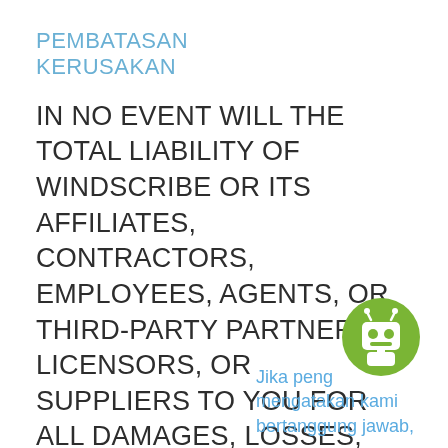PEMBATASAN KERUSAKAN
IN NO EVENT WILL THE TOTAL LIABILITY OF WINDSCRIBE OR ITS AFFILIATES, CONTRACTORS, EMPLOYEES, AGENTS, OR THIRD-PARTY PARTNERS, LICENSORS, OR SUPPLIERS TO YOU FOR ALL DAMAGES, LOSSES, AND CAUSES OF ACTION ARISING OUT
Jika peng mengatakan kami bertanggung jawab,